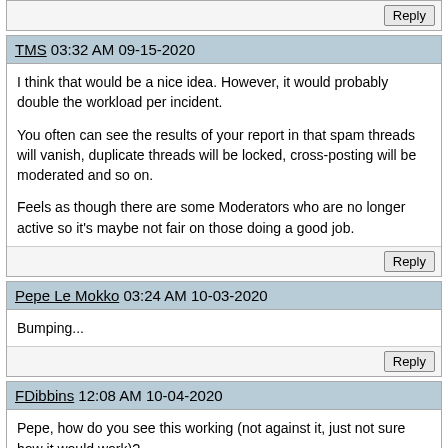Reply
TMS 03:32 AM 09-15-2020
I think that would be a nice idea. However, it would probably double the workload per incident.

You often can see the results of your report in that spam threads will vanish, duplicate threads will be locked, cross-posting will be moderated and so on.

Feels as though there are some Moderators who are no longer active so it's maybe not fair on those doing a good job.
Reply
Pepe Le Mokko 03:24 AM 10-03-2020
Bumping...
Reply
FDibbins 12:08 AM 10-04-2020
Pepe, how do you see this working (not against it, just not sure how it would work)?

something like - if you report a spam thread, I ban the user, and send you the date?